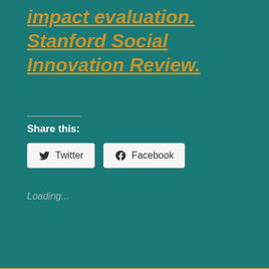impact evaluation. Stanford Social Innovation Review.
Share this:
[Figure (other): Twitter and Facebook share buttons]
Loading...